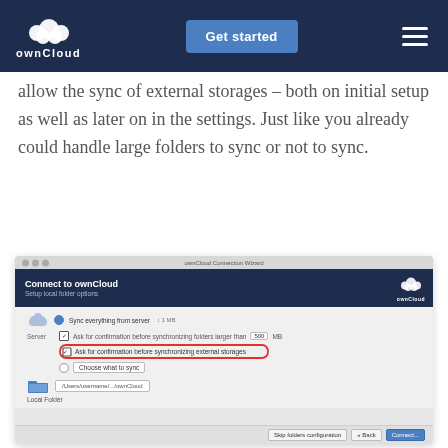ownCloud | Get started
allow the sync of external storages – both on initial setup as well as later on in the settings. Just like you already could handle large folders to sync or not to sync.
[Figure (screenshot): ownCloud Connection Wizard dialog showing sync options including 'Ask for confirmation before synchronizing external storages' option circled in red]